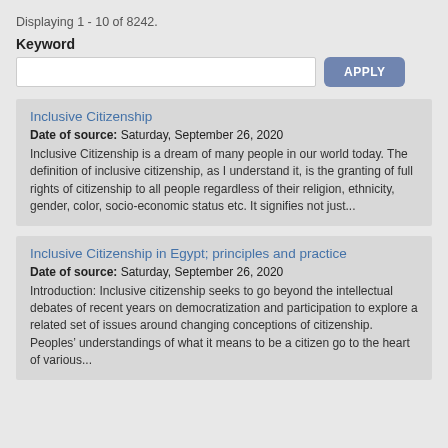Displaying 1 - 10 of 8242.
Keyword
Inclusive Citizenship
Date of source: Saturday, September 26, 2020
Inclusive Citizenship is a dream of many people in our world today. The definition of inclusive citizenship, as I understand it, is the granting of full rights of citizenship to all people regardless of their religion, ethnicity, gender, color, socio-economic status etc. It signifies not just...
Inclusive Citizenship in Egypt; principles and practice
Date of source: Saturday, September 26, 2020
Introduction: Inclusive citizenship seeks to go beyond the intellectual debates of recent years on democratization and participation to explore a related set of issues around changing conceptions of citizenship. Peoples’ understandings of what it means to be a citizen go to the heart of various...